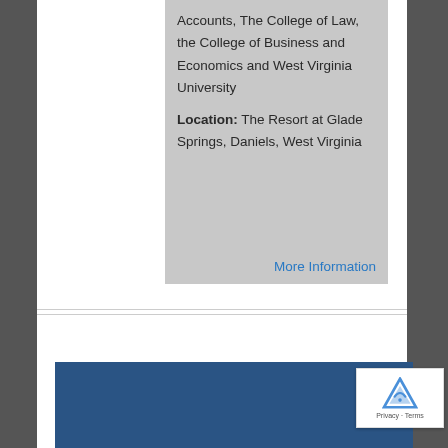Accounts, The College of Law, the College of Business and Economics and West Virginia University
Location: The Resort at Glade Springs, Daniels, West Virginia
More Information